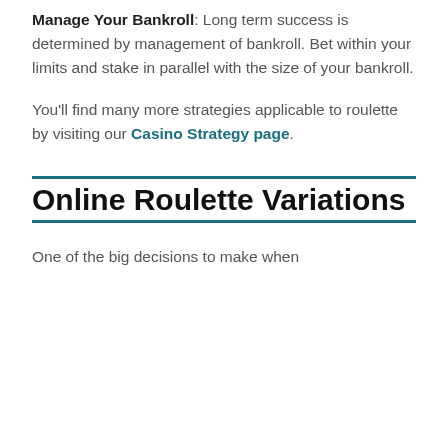Manage Your Bankroll: Long term success is determined by management of bankroll. Bet within your limits and stake in parallel with the size of your bankroll.
You'll find many more strategies applicable to roulette by visiting our Casino Strategy page.
Online Roulette Variations
One of the big decisions to make when